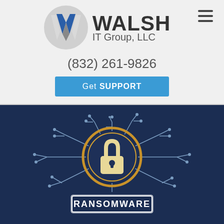WALSH IT Group, LLC
(832) 261-9826
Get SUPPORT
[Figure (illustration): Ransomware illustration: a padlock with circuit board lines radiating outward on a dark navy background, with a label 'RANSOMWARE' at the bottom]